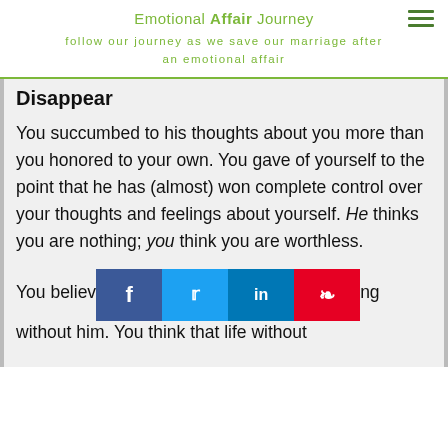Emotional Affair Journey
Follow our journey as we save our marriage after an emotional affair
Disappear
You succumbed to his thoughts about you more than you honored to your own. You gave of yourself to the point that he has (almost) won complete control over your thoughts and feelings about yourself. He thinks you are nothing; you think you are worthless.
[Figure (infographic): Social share buttons: Facebook (blue), Twitter (light blue), LinkedIn (dark blue), Pinterest (red)]
You believe ng without him. You think that life without